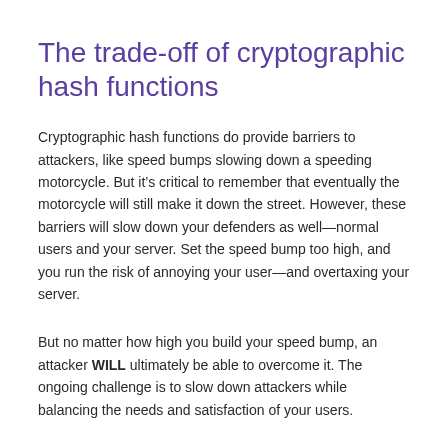The trade-off of cryptographic hash functions
Cryptographic hash functions do provide barriers to attackers, like speed bumps slowing down a speeding motorcycle. But it’s critical to remember that eventually the motorcycle will still make it down the street. However, these barriers will slow down your defenders as well—normal users and your server. Set the speed bump too high, and you run the risk of annoying your user—and overtaxing your server.
But no matter how high you build your speed bump, an attacker WILL ultimately be able to overcome it. The ongoing challenge is to slow down attackers while balancing the needs and satisfaction of your users.